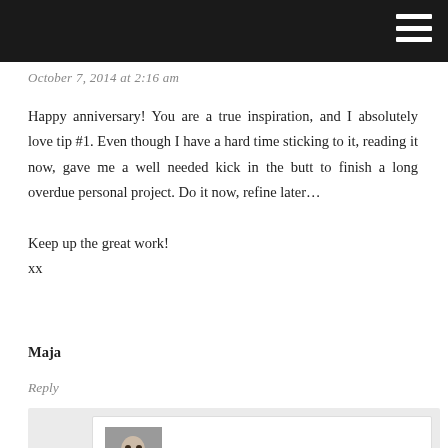October 7, 2014 at 2:16 am
Happy anniversary! You are a true inspiration, and I absolutely love tip #1. Even though I have a hard time sticking to it, reading it now, gave me a well needed kick in the butt to finish a long overdue personal project. Do it now, refine later…

Keep up the great work!
xx
Maja
Reply
SHAUNA SAYS:
October 7, 2014 at 10:03 am